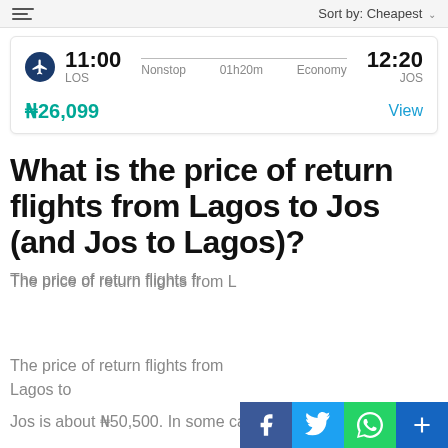[Figure (screenshot): Flight search result card showing a flight from LOS (Lagos) at 11:00 to JOS at 12:20, Nonstop, 01h20m, Economy, priced at ₦26,099 with a View button. Top bar shows filter icon and Sort by: Cheapest dropdown.]
What is the price of return flights from Lagos to Jos (and Jos to Lagos)?
The price of return flights from Lagos to Jos is about ₦50,500. In some cases the